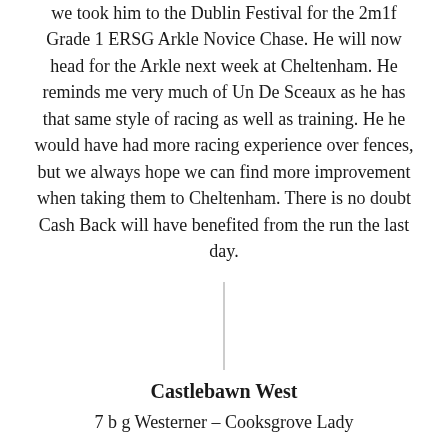we took him to the Dublin Festival for the 2m1f Grade 1 ERSG Arkle Novice Chase. He will now head for the Arkle next week at Cheltenham. He reminds me very much of Un De Sceaux as he has that same style of racing as well as training. He he would have had more racing experience over fences, but we always hope we can find more improvement when taking them to Cheltenham. There is no doubt Cash Back will have benefited from the run the last day.
Castlebawn West
7 b g Westerner – Cooksgrove Lady
He won a beginners' chase at Fairyhouse on New Year's Day and ran another encouraging race when fourth to Faughoon at Grade 1 level last month at the